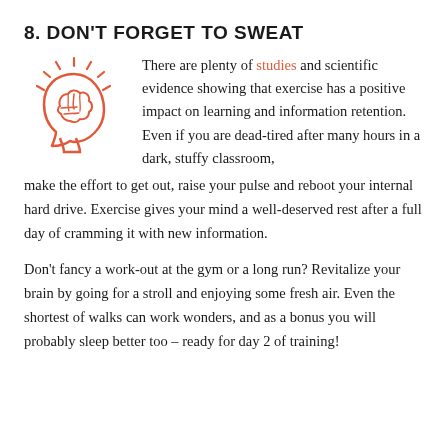8. DON'T FORGET TO SWEAT
[Figure (illustration): Orange line-art icon of a human head in profile with a brain visible inside, and radiating lines around the top suggesting energy or thinking.]
There are plenty of studies and scientific evidence showing that exercise has a positive impact on learning and information retention. Even if you are dead-tired after many hours in a dark, stuffy classroom, make the effort to get out, raise your pulse and reboot your internal hard drive. Exercise gives your mind a well-deserved rest after a full day of cramming it with new information.
Don't fancy a work-out at the gym or a long run? Revitalize your brain by going for a stroll and enjoying some fresh air. Even the shortest of walks can work wonders, and as a bonus you will probably sleep better too – ready for day 2 of training!